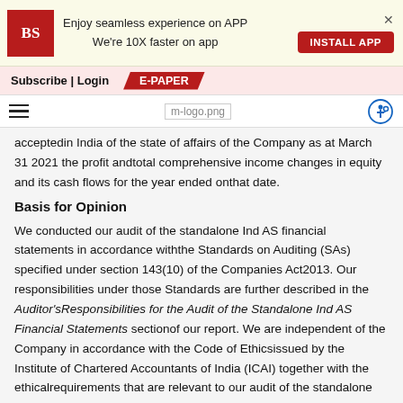[Figure (screenshot): Business Standard app promotion banner with BS logo, text 'Enjoy seamless experience on APP We're 10X faster on app', INSTALL APP button, and close X]
Subscribe | Login  E-PAPER
[Figure (logo): Navigation bar with hamburger menu, m-logo.png, and share icon]
acceptedin India of the state of affairs of the Company as at March 31 2021 the profit andtotal comprehensive income changes in equity and its cash flows for the year ended onthat date.
Basis for Opinion
We conducted our audit of the standalone Ind AS financial statements in accordance withthe Standards on Auditing (SAs) specified under section 143(10) of the Companies Act2013. Our responsibilities under those Standards are further described in the Auditor'sResponsibilities for the Audit of the Standalone Ind AS Financial Statements sectionof our report. We are independent of the Company in accordance with the Code of Ethicsissued by the Institute of Chartered Accountants of India (ICAI) together with the ethicalrequirements that are relevant to our audit of the standalone Ind AS financial statementsunder the provisions of the Companies Act 2013 and the Rules made thereunder and we havefulfilled